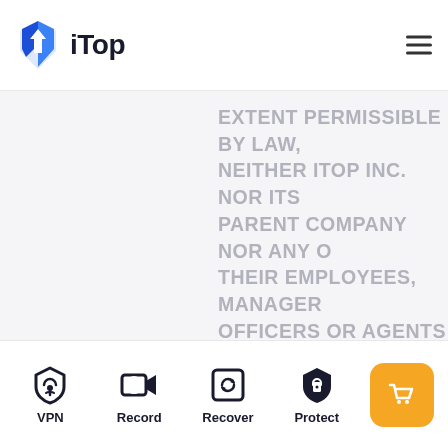[Figure (logo): iTop logo — blue shield/arrow icon with 'iTop' text]
EXTENT PERMISSIBLE BY LAW, NEITHER ITOP INC. NOR ITS PARENT COMPANY NOR ANY OF THEIR EMPLOYEES, MANAGERS, OFFICERS OR AGENTS (COLLECTIVELY, THE ITOP INC. PARTIES") MAKE ANY REPRESENTATIONS OR WARRANTIES OR ENDORSEMENTS OF ANY KIND WHATSOEVER, EXPRESS OR IMPLIED, AS TO: THE SERVICE; (B) THE ITOP INC. CONTENT; (C) USER CONTENT; (D) SECURITY ASSOCIATED WITH THE TRANSMISSION OF INFORMATION TO ITOP INC. O
VPN   Record   Recover   Protect